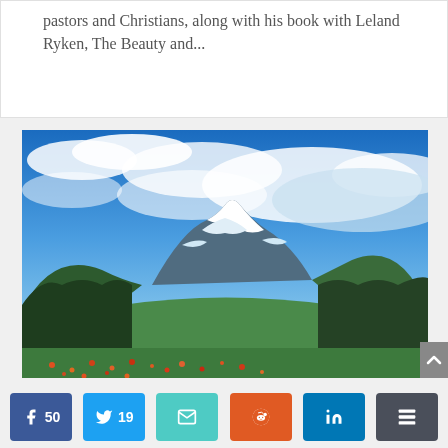pastors and Christians, along with his book with Leland Ryken, The Beauty and...
[Figure (photo): Landscape photograph of a snow-capped mountain range with green forested hills, colorful wildflowers in the foreground, and a blue sky with white clouds above.]
50  19  (email icon)  (reddit icon)  (linkedin icon)  (more icon)